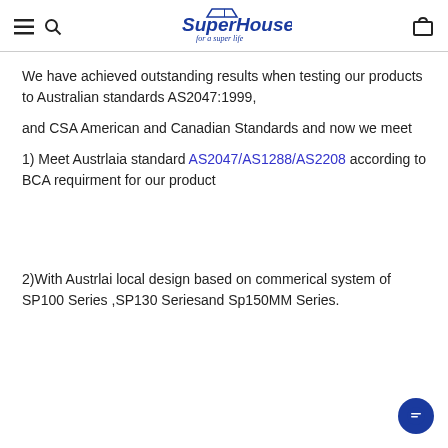SuperHouse – for a super life
We have achieved outstanding results when testing our products to Australian standards AS2047:1999,
and CSA American and Canadian Standards and now we meet
1) Meet Austrlaia standard AS2047/AS1288/AS2208 according to BCA requirment for our product
2)With Austrlai local design based on commerical system of SP100 Series ,SP130 Seriesand Sp150MM Series.